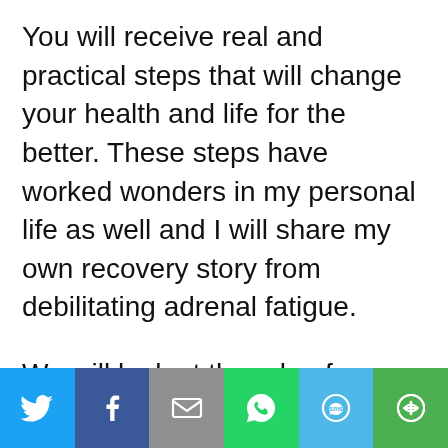You will receive real and practical steps that will change your health and life for the better. These steps have worked wonders in my personal life as well and I will share my own recovery story from debilitating adrenal fatigue.
We will look at the role of your food choices, the activities you're spending your time on, the people in your life, what you need to do to fill
[Figure (other): Social sharing bar with six buttons: Twitter (blue), Facebook (dark blue), Email (gray), WhatsApp (green), SMS (light blue), More/other (green)]